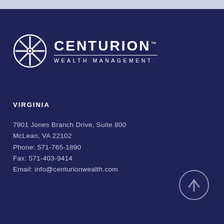[Figure (logo): Centurion Wealth Management logo with circular emblem and text]
VIRGINIA
7901 Jones Branch Drive, Suite 800
McLean, VA 22102
Phone: 571-765-1890
Fax: 571-403-9414
Email: info@centurionwealth.com